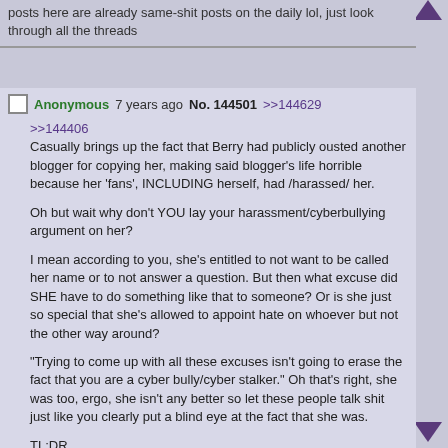posts here are already same-shit posts on the daily lol, just look through all the threads
Anonymous 7 years ago No. 144501 >>144629
>>144406
Casually brings up the fact that Berry had publicly ousted another blogger for copying her, making said blogger's life horrible because her 'fans', INCLUDING herself, had /harassed/ her.

Oh but wait why don't YOU lay your harassment/cyberbullying argument on her?

I mean according to you, she's entitled to not want to be called her name or to not answer a question. But then what excuse did SHE have to do something like that to someone? Or is she just so special that she's allowed to appoint hate on whoever but not the other way around?

"Trying to come up with all these excuses isn't going to erase the fact that you are a cyber bully/cyber stalker." Oh that's right, she was too, ergo, she isn't any better so let these people talk shit just like you clearly put a blind eye at the fact that she was.

TL;DR
Stop being a hypocrite, you're defending someone that literally fits under the category of what you have been describing as a cyberbully.